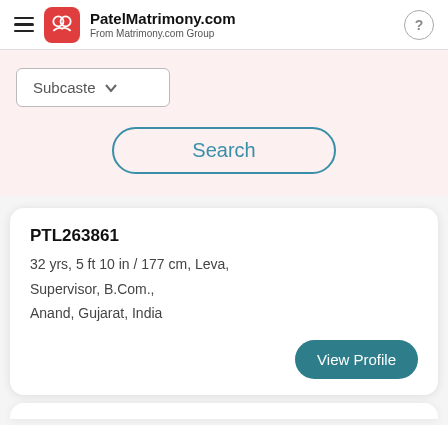PatelMatrimony.com From Matrimony.com Group
Subcaste
Search
PTL263861
32 yrs, 5 ft 10 in / 177 cm, Leva, Supervisor, B.Com., Anand, Gujarat, India
View Profile